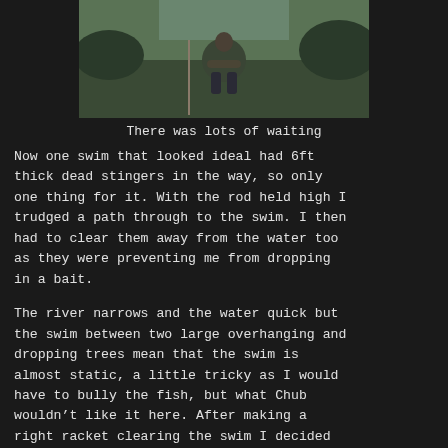[Figure (photo): A person crouching outdoors near vegetation and a rod, wearing dark clothing]
There was lots of waiting
Now one swim that looked ideal had 6ft thick dead stingers in the way, so only one thing for it. With the rod held high I trudged a path through to the swim. I then had to clear them away from the water too as they were preventing me from dropping in a bait.
The river narrows and the water quick but the swim between two large overhanging and dropping trees mean that the swim is almost static, a little tricky as I would have to bully the fish, but what Chub wouldn't like it here. After making a right racket clearing the swim I decided to give it the last hour. Not much happened for 40 minutes or so but then when a huge bite and a fish was on. The